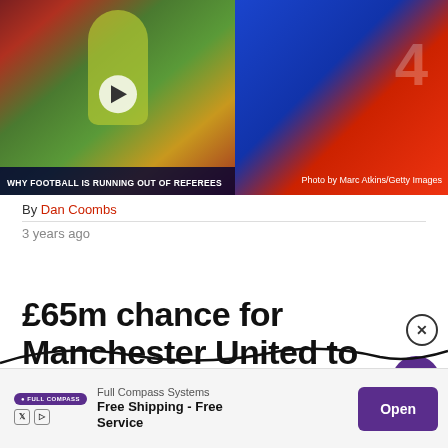[Figure (screenshot): Left: Video thumbnail of a referee in yellow kit raising hand on a football pitch, with overlay text 'WHY FOOTBALL IS RUNNING OUT OF REFEREES' and a play button. Right: Photo of football players in blue/red kits with photo credit 'Photo by Marc Atkins/Getty Images'.]
By Dan Coombs
3 years ago
£65m chance for Manchester United to act like a big club
[Figure (infographic): Advertisement banner for Full Compass Systems: 'Free Shipping - Free Service' with Open button]